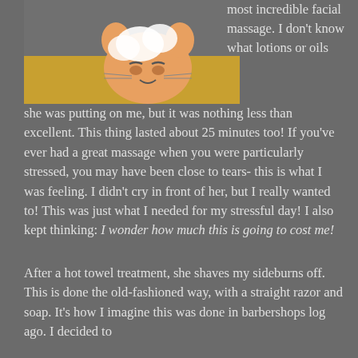[Figure (illustration): Cartoon image showing a character (Tom cat from Tom and Jerry) receiving a facial massage, with a yellow/orange background]
most incredible facial massage. I don't know what lotions or oils she was putting on me, but it was nothing less than excellent. This thing lasted about 25 minutes too! If you've ever had a great massage when you were particularly stressed, you may have been close to tears- this is what I was feeling. I didn't cry in front of her, but I really wanted to! This was just what I needed for my stressful day! I also kept thinking: I wonder how much this is going to cost me!
After a hot towel treatment, she shaves my sideburns off. This is done the old-fashioned way, with a straight razor and soap. It's how I imagine this was done in barbershops log ago. I decided to